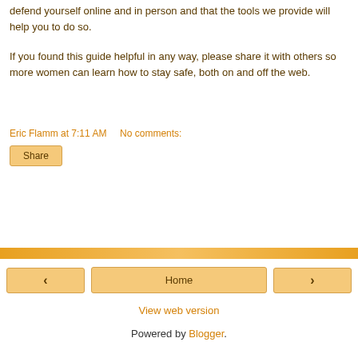defend yourself online and in person and that the tools we provide will help you to do so.
If you found this guide helpful in any way, please share it with others so more women can learn how to stay safe, both on and off the web.
Eric Flamm at 7:11 AM    No comments:
Share
‹    Home    ›
View web version
Powered by Blogger.